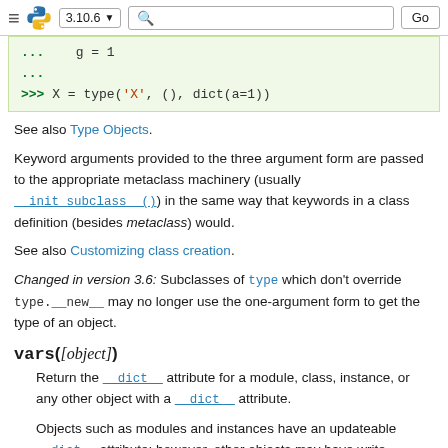3.10.6  [search]  Go
[Figure (screenshot): Python REPL code block showing: ... g = 1 / ... / >>> X = type('X', (), dict(a=1))]
See also Type Objects.
Keyword arguments provided to the three argument form are passed to the appropriate metaclass machinery (usually __init_subclass__()) in the same way that keywords in a class definition (besides metaclass) would.
See also Customizing class creation.
Changed in version 3.6: Subclasses of type which don't override type.__new__ may no longer use the one-argument form to get the type of an object.
vars([object])
Return the __dict__ attribute for a module, class, instance, or any other object with a __dict__ attribute.
Objects such as modules and instances have an updateable __dict__ attribute; however, other objects may have write